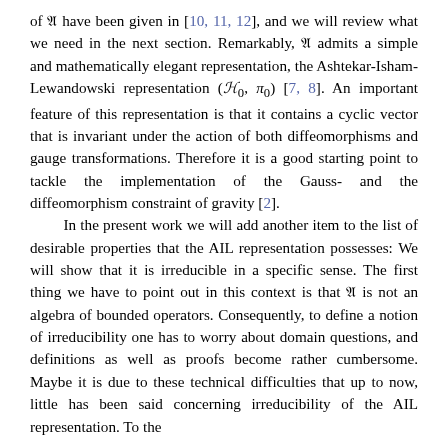of A have been given in [10, 11, 12], and we will review what we need in the next section. Remarkably, A admits a simple and mathematically elegant representation, the Ashtekar-Isham-Lewandowski representation (H_0, π_0) [7, 8]. An important feature of this representation is that it contains a cyclic vector that is invariant under the action of both diffeomorphisms and gauge transformations. Therefore it is a good starting point to tackle the implementation of the Gauss- and the diffeomorphism constraint of gravity [2].
In the present work we will add another item to the list of desirable properties that the AIL representation possesses: We will show that it is irreducible in a specific sense. The first thing we have to point out in this context is that A is not an algebra of bounded operators. Consequently, to define a notion of irreducibility one has to worry about domain questions, and definitions as well as proofs become rather cumbersome. Maybe it is due to these technical difficulties that up to now, little has been said concerning irreducibility of the AIL representation. To the